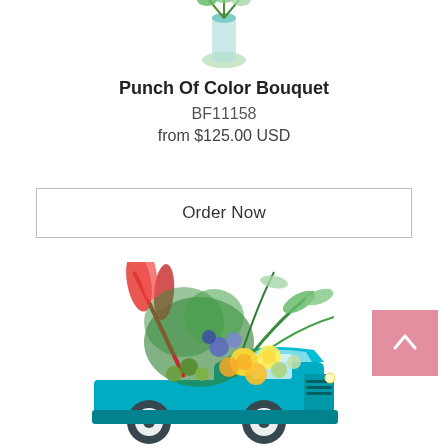[Figure (photo): Partial view of a flower bouquet in a vase, cropped at the top of the page — only the bottom half of the vase and flowers visible.]
Punch Of Color Bouquet
BF11158
from $125.00 USD
Order Now
[Figure (photo): A floral arrangement featuring yellow roses, red bromeliads, green ferns, green button mums, and other tropical foliage, displayed in a teal/turquoise vintage Chevy pickup truck ceramic vase.]